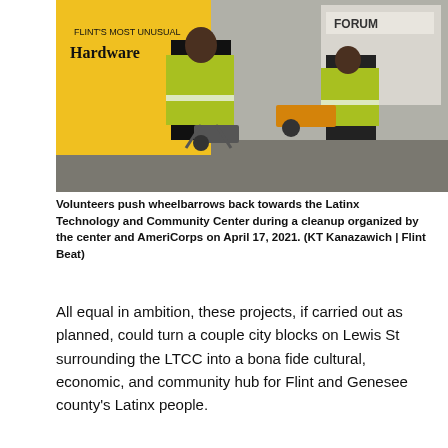[Figure (photo): Two volunteers wearing bright yellow-green safety vests push wheelbarrows on a street. Behind them is a yellow building with a sign reading 'Flint's Most Unusual Hardware' and another building with a 'Forum' sign.]
Volunteers push wheelbarrows back towards the Latinx Technology and Community Center during a cleanup organized by the center and AmeriCorps on April 17, 2021. (KT Kanazawich | Flint Beat)
All equal in ambition, these projects, if carried out as planned, could turn a couple city blocks on Lewis St surrounding the LTCC into a bona fide cultural, economic, and community hub for Flint and Genesee county's Latinx people.